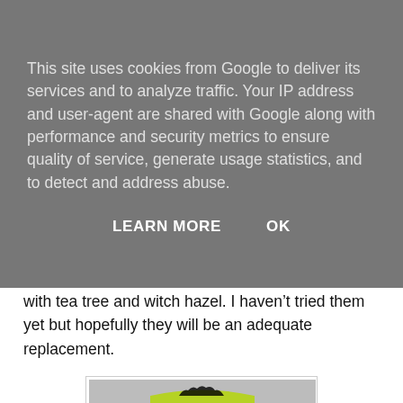This site uses cookies from Google to deliver its services and to analyze traffic. Your IP address and user-agent are shared with Google along with performance and security metrics to ensure quality of service, generate usage statistics, and to detect and address abuse.
LEARN MORE   OK
with tea tree and witch hazel. I haven't tried them yet but hopefully they will be an adequate replacement.
[Figure (photo): Photo of a green packet of 'PS Love Your Skin Oil Balancing Facial Cleansing Wipes for Combination Skin' with a white label showing product details. URL watermark at bottom: http://www.loubouland.co.uk]